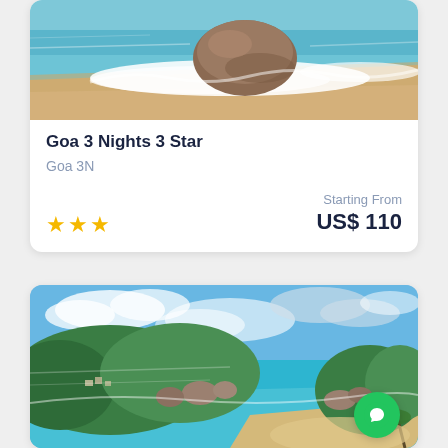[Figure (photo): Beach scene with large rock, sandy shore and ocean waves with foam, Goa beach]
Goa 3 Nights 3 Star
Goa 3N
★★★  Starting From  US$ 110
[Figure (photo): Tropical island bay with turquoise water, green hills with granite rocks, sandy beach, cloudy blue sky — Seychelles or similar destination]